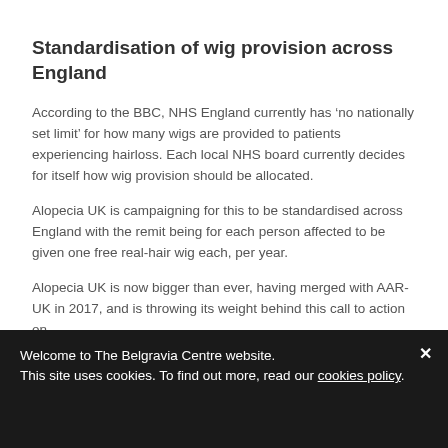Standardisation of wig provision across England
According to the BBC, NHS England currently has ‘no nationally set limit’ for how many wigs are provided to patients experiencing hairloss. Each local NHS board currently decides for itself how wig provision should be allocated.
Alopecia UK is campaigning for this to be standardised across England with the remit being for each person affected to be given one free real-hair wig each, per year.
Alopecia UK is now bigger than ever, having merged with AAR-UK in 2017, and is throwing its weight behind this call to action on…
Welcome to The Belgravia Centre website.
This site uses cookies. To find out more, read our cookies policy.